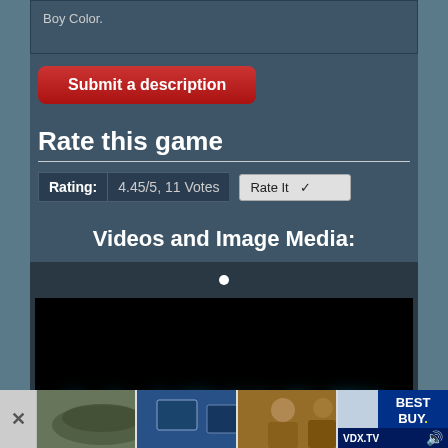Boy Color.
Submit a description
Rate this game
Rating: 4.45/5, 11 Votes  Rate It
Videos and Image Media:
[Figure (screenshot): Video player showing ALIENS™ title screen with blue glowing text on black background]
[Figure (advertisement): Best Buy advertisement banner with VDX.TV label, showing food, technology and people images]